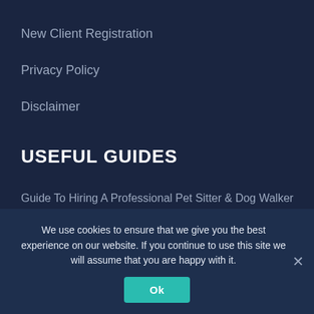New Client Registration
Privacy Policy
Disclaimer
USEFUL GUIDES
Guide To Hiring A Professional Pet Sitter & Dog Walker
SIGN UP FOR PET NEWS
We use cookies to ensure that we give you the best experience on our website. If you continue to use this site we will assume that you are happy with it.
Ok